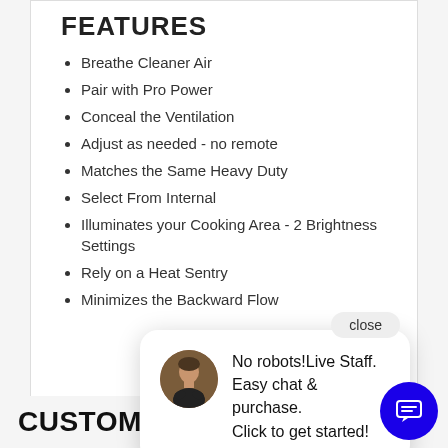FEATURES
Breathe Cleaner Air
Pair with Pro Power
Conceal the Ventilation
Adjust as needed - no remote
Matches the Same Heavy Duty
Select From Internal
Illuminates your Cooking Area - 2 Brightness Settings
Rely on a Heat Sentry
Minimizes the Backward Flow
[Figure (screenshot): Live chat popup with agent photo and text: No robots! Live Staff. Easy chat & purchase. Click to get started! with a close button and blue chat FAB button.]
CUSTOMERS ALSO VIEWED